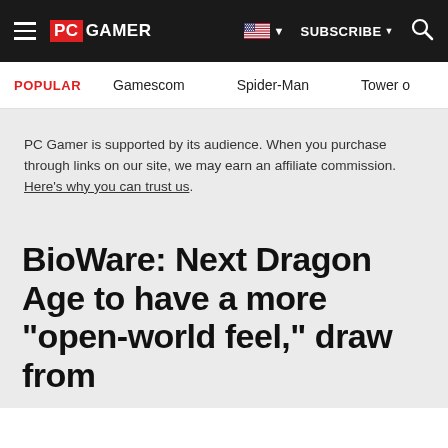PC GAMER — SUBSCRIBE — Search
POPULAR   Gamescom   Spider-Man   Tower o
PC Gamer is supported by its audience. When you purchase through links on our site, we may earn an affiliate commission. Here's why you can trust us.
BioWare: Next Dragon Age to have a more "open-world feel," draw from